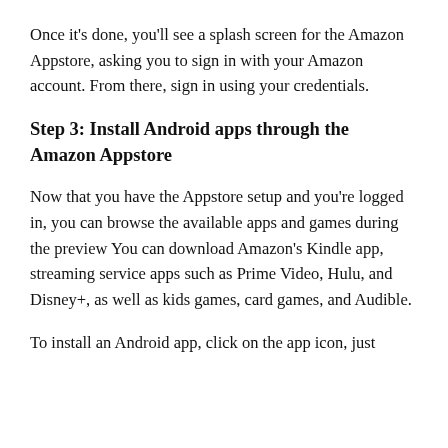Once it's done, you'll see a splash screen for the Amazon Appstore, asking you to sign in with your Amazon account. From there, sign in using your credentials.
Step 3: Install Android apps through the Amazon Appstore
Now that you have the Appstore setup and you're logged in, you can browse the available apps and games during the preview You can download Amazon's Kindle app, streaming service apps such as Prime Video, Hulu, and Disney+, as well as kids games, card games, and Audible.
To install an Android app, click on the app icon, just